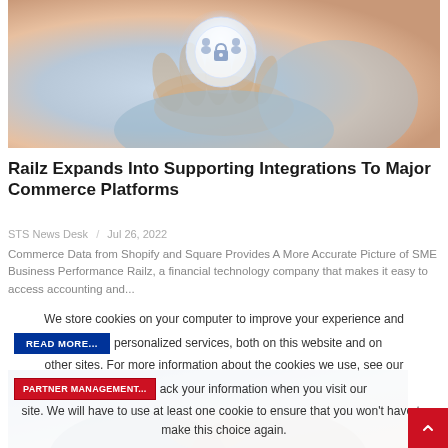[Figure (photo): A hand holding a glowing digital security orb with lock and person icons, representing digital protection and fintech]
Railz Expands Into Supporting Integrations To Major Commerce Platforms
STS News Desk  /  Jul 26, 2022
Commerce Data from Shopify and Square Provides A More Accurate Picture of SME Business Performance Railz, a financial technology company that makes it easy to access accounting and...
We store cookies on your computer to improve your experience and provide more personalized services, both on this website and on other sites. For more information about the cookies we use, see our [PARTNER MANAGEMENT...] track your information when you visit our site. We will have to use at least one cookie to ensure that you won't have to make this choice again.
[Figure (photo): Two people shaking hands in a business meeting context, partially visible at the bottom of the page]